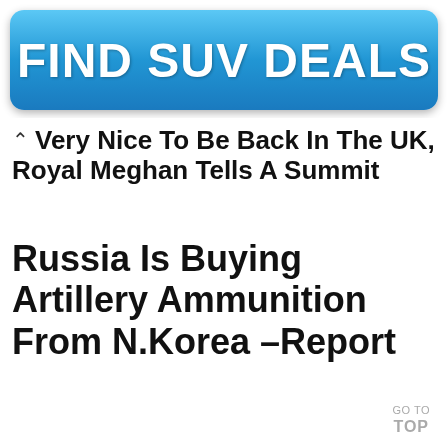[Figure (other): Blue rounded rectangle advertisement banner with white bold text reading FIND SUV DEALS]
Very Nice To Be Back In The UK, Royal Meghan Tells A Summit
Russia Is Buying Artillery Ammunition From N.Korea –Report
GO TO TOP